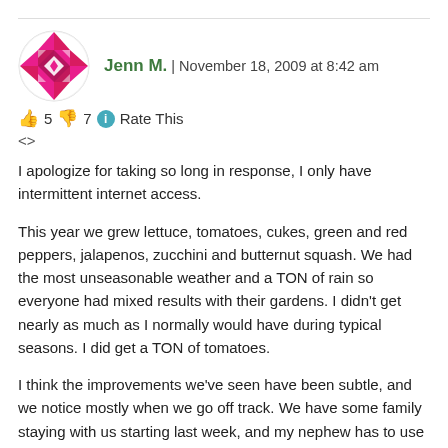[Figure (illustration): Circular avatar with pink/magenta geometric quilt-like pattern on white background]
Jenn M.  |  November 18, 2009 at 8:42 am
👍 5  👎 7  ℹ Rate This
<>
I apologize for taking so long in response, I only have intermittent internet access.
This year we grew lettuce, tomatoes, cukes, green and red peppers, jalapenos, zucchini and butternut squash. We had the most unseasonable weather and a TON of rain so everyone had mixed results with their gardens. I didn't get nearly as much as I normally would have during typical seasons. I did get a TON of tomatoes.
I think the improvements we've seen have been subtle, and we notice mostly when we go off track. We have some family staying with us starting last week, and my nephew has to use a special cream for